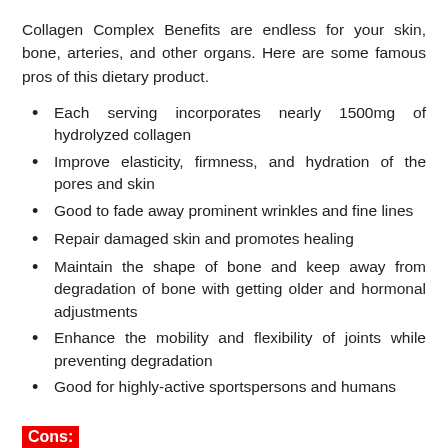Collagen Complex Benefits are endless for your skin, bone, arteries, and other organs. Here are some famous pros of this dietary product.
Each serving incorporates nearly 1500mg of hydrolyzed collagen
Improve elasticity, firmness, and hydration of the pores and skin
Good to fade away prominent wrinkles and fine lines
Repair damaged skin and promotes healing
Maintain the shape of bone and keep away from degradation of bone with getting older and hormonal adjustments
Enhance the mobility and flexibility of joints while preventing degradation
Good for highly-active sportspersons and humans
Cons: